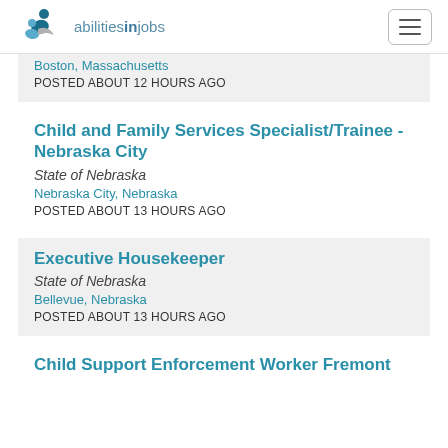abilitiesinjobs
Boston, Massachusetts
POSTED ABOUT 12 HOURS AGO
Child and Family Services Specialist/Trainee - Nebraska City
State of Nebraska
Nebraska City, Nebraska
POSTED ABOUT 13 HOURS AGO
Executive Housekeeper
State of Nebraska
Bellevue, Nebraska
POSTED ABOUT 13 HOURS AGO
Child Support Enforcement Worker Fremont